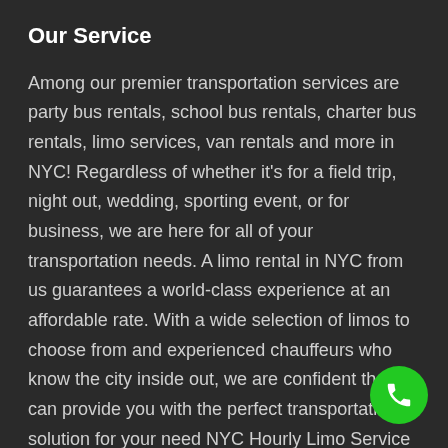Our Service
Among our premier transportation services are party bus rentals, school bus rentals, charter bus rentals, limo services, van rentals and more in NYC! Regardless of whether it's for a field trip, night out, wedding, sporting event, or for business, we are here for all of your transportation needs. A limo rental in NYC from us guarantees a world-class experience at an affordable rate. With a wide selection of limos to choose from and experienced chauffeurs who know the city inside out, we are confident that we can provide you with the perfect transportation solution for your needs. NYC Hourly Limo Service is perfect for those who
[Figure (other): Green circular phone/call button in the bottom right corner]